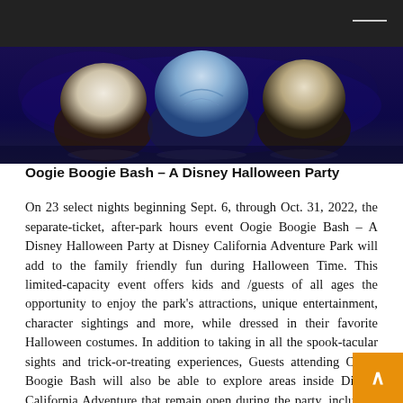[Figure (photo): Photo of Disney Halloween costume characters (Oogie Boogie Bash characters) on a dark blue lit stage backdrop]
Oogie Boogie Bash – A Disney Halloween Party
On 23 select nights beginning Sept. 6, through Oct. 31, 2022, the separate-ticket, after-park hours event Oogie Boogie Bash – A Disney Halloween Party at Disney California Adventure Park will add to the family friendly fun during Halloween Time. This limited-capacity event offers kids and /guests of all ages the opportunity to enjoy the park's attractions, unique entertainment, character sightings and more, while dressed in their favorite Halloween costumes. In addition to taking in all the spook-tacular sights and trick-or-treating experiences, Guests attending Oogie Boogie Bash will also be able to explore areas inside Disney California Adventure that remain open during the party, including Avengers Campus.